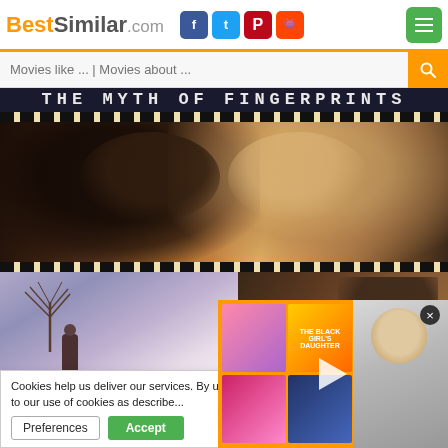BestSimilar.com
Movies like ... | Movies about ...
THE MYTH OF FINGERPRINTS
[Figure (photo): Close-up film still of a man and woman from the movie 'The Myth of Fingerprints', shown in warm amber tones with film strip borders at top and bottom]
[Figure (photo): Two lower film stills from the movie: left shows a person standing by bare winter trees in purple-toned scene; right shows another character in darker tones]
[Figure (photo): Video overlay with orange background showing movie thumbnails and a presenter/host, with a play button and close button]
Cookies help us deliver our services. By us... you agree to our use of cookies as describe...
Preferences    Accept